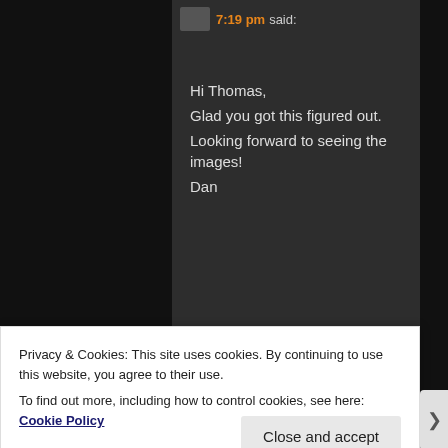7:19 pm said:
Hi Thomas,
Glad you got this figured out.
Looking forward to seeing the images!
Dan
★ Like
Jonathan Self
Privacy & Cookies: This site uses cookies. By continuing to use this website, you agree to their use.
To find out more, including how to control cookies, see here: Cookie Policy
Close and accept